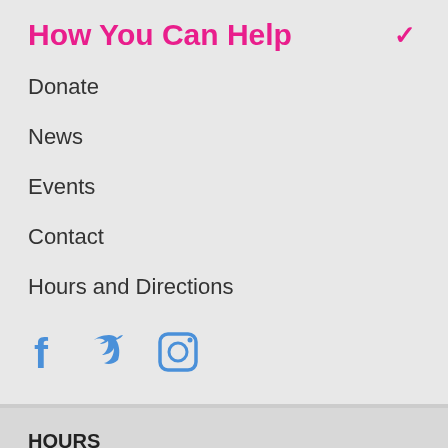How You Can Help
Donate
News
Events
Contact
Hours and Directions
[Figure (infographic): Social media icons: Facebook, Twitter, Instagram in blue]
HOURS
Mon-Tues: 10:30am-5pm
Wed: 10:30am-6pm